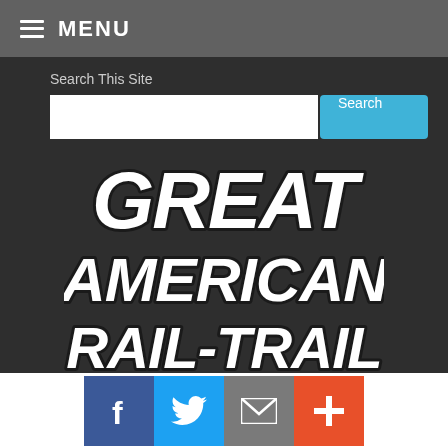MENU
Search This Site
[Figure (logo): Great American Rail-Trail logo in bold white italic text on dark background]
[Figure (infographic): Social share bar with Facebook, Twitter, Email, and More (+) buttons]